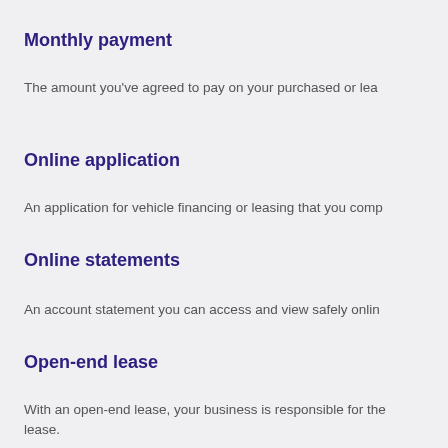Monthly payment
The amount you've agreed to pay on your purchased or lea…
Online application
An application for vehicle financing or leasing that you comp…
Online statements
An account statement you can access and view safely onlin…
Open-end lease
With an open-end lease, your business is responsible for th… lease.
Payment terms
The amount of time you can take to pay off your vehicle fina… leased vehicle.
Predetermined price
This is the price set to sell the vehicle to Ally on the Special… your Ally Buyer's Choice (ABC) contract rider, the price is su…